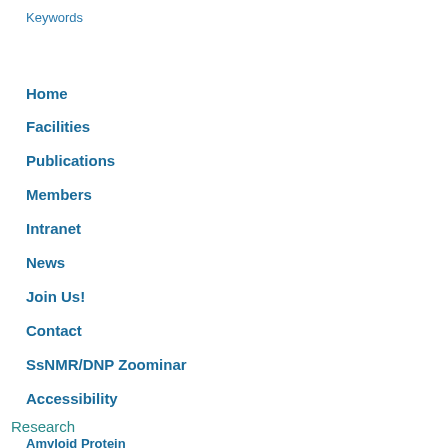Keywords
Home
Facilities
Publications
Members
Intranet
News
Join Us!
Contact
SsNMR/DNP Zoominar
Accessibility
Research
Amyloid Protein